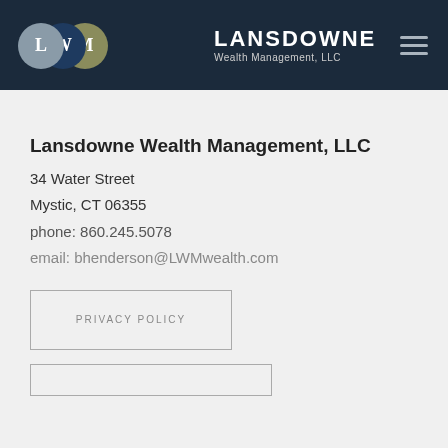[Figure (logo): Lansdowne Wealth Management LLC logo with three overlapping circles labeled L, W, M and text LANSDOWNE Wealth Management, LLC on dark navy background]
Lansdowne Wealth Management, LLC
34 Water Street
Mystic, CT 06355
phone: 860.245.5078
email: bhenderson@LWMwealth.com
PRIVACY POLICY